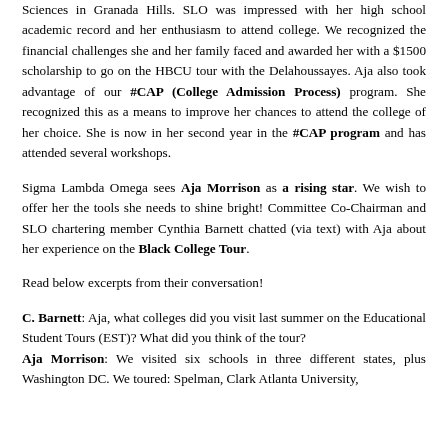Sciences in Granada Hills. SLO was impressed with her high school academic record and her enthusiasm to attend college. We recognized the financial challenges she and her family faced and awarded her with a $1500 scholarship to go on the HBCU tour with the Delahoussayes. Aja also took advantage of our #CAP (College Admission Process) program. She recognized this as a means to improve her chances to attend the college of her choice. She is now in her second year in the #CAP program and has attended several workshops.
Sigma Lambda Omega sees Aja Morrison as a rising star. We wish to offer her the tools she needs to shine bright! Committee Co-Chairman and SLO chartering member Cynthia Barnett chatted (via text) with Aja about her experience on the Black College Tour.
Read below excerpts from their conversation!
C. Barnett: Aja, what colleges did you visit last summer on the Educational Student Tours (EST)? What did you think of the tour? Aja Morrison: We visited six schools in three different states, plus Washington DC. We toured: Spelman, Clark Atlanta University,